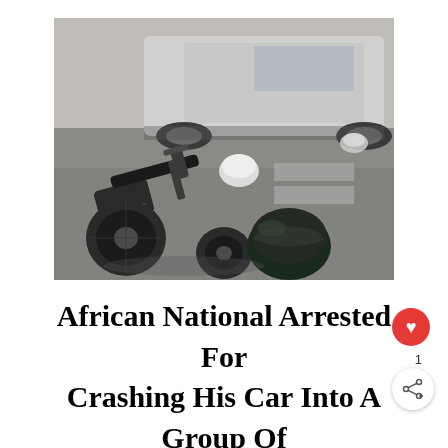[Figure (photo): Motorcycle accident scene showing a fallen motorcycle on the road with a dark helmet on the ground, a silver/white car in the background, and scattered debris including another helmet. Road markings visible.]
African National Arrested For Crashing His Car Into A Group Of Students In Bali